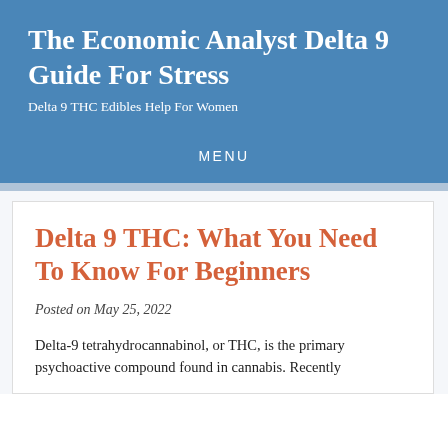The Economic Analyst Delta 9 Guide For Stress
Delta 9 THC Edibles Help For Women
MENU
Delta 9 THC: What You Need To Know For Beginners
Posted on May 25, 2022
Delta-9 tetrahydrocannabinol, or THC, is the primary psychoactive compound found in cannabis. Recently